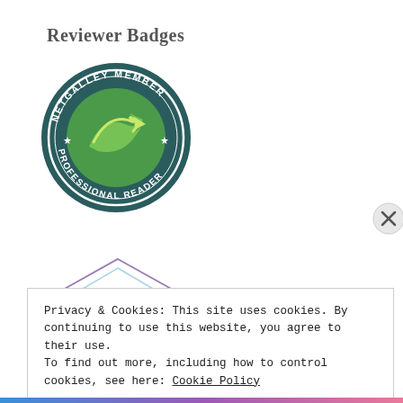Reviewer Badges
[Figure (logo): NetGalley Member Professional Reader circular badge with green arrow logo on dark teal background]
[Figure (logo): 25 Reviews hexagonal badge with decorative border in purple/blue tones]
Privacy & Cookies: This site uses cookies. By continuing to use this website, you agree to their use.
To find out more, including how to control cookies, see here: Cookie Policy
Close and accept